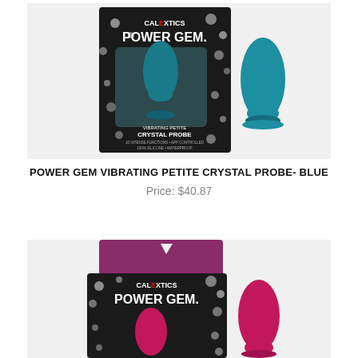[Figure (photo): Product photo of CalExotics Power Gem Vibrating Petite Crystal Probe in blue, shown in packaging box and standalone]
POWER GEM VIBRATING PETITE CRYSTAL PROBE- BLUE
Price: $40.87
[Figure (photo): Product photo of CalExotics Power Gem product in pink/purple packaging, partially visible]